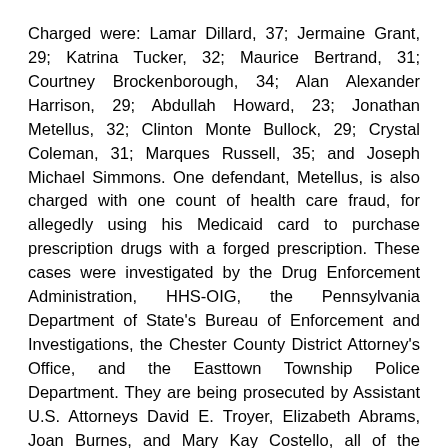Charged were: Lamar Dillard, 37; Jermaine Grant, 29; Katrina Tucker, 32; Maurice Bertrand, 31; Courtney Brockenborough, 34; Alan Alexander Harrison, 29; Abdullah Howard, 23; Jonathan Metellus, 32; Clinton Monte Bullock, 29; Crystal Coleman, 31; Marques Russell, 35; and Joseph Michael Simmons. One defendant, Metellus, is also charged with one count of health care fraud, for allegedly using his Medicaid card to purchase prescription drugs with a forged prescription. These cases were investigated by the Drug Enforcement Administration, HHS-OIG, the Pennsylvania Department of State's Bureau of Enforcement and Investigations, the Chester County District Attorney's Office, and the Easttown Township Police Department. They are being prosecuted by Assistant U.S. Attorneys David E. Troyer, Elizabeth Abrams, Joan Burnes, and Mary Kay Costello, all of the Eastern District of Pennsylvania.
Today's enforcement actions were led and coordinated by the Health Care Fraud Unit of the Criminal Division's Fraud Section, in conjunction with its Medicare Fraud Strike Force, as well as the U.S. Attorney's Offices for the Eastern District